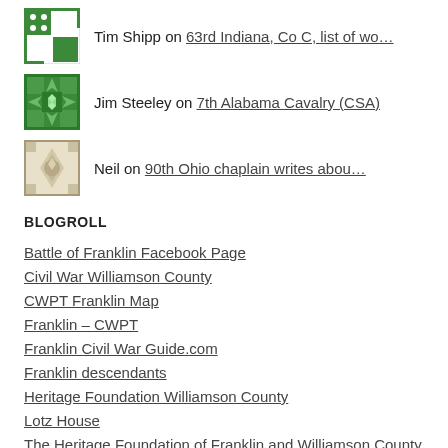Tim Shipp on 63rd Indiana, Co C, list of wo…
Jim Steeley on 7th Alabama Cavalry (CSA)
Neil on 90th Ohio chaplain writes abou…
BLOGROLL
Battle of Franklin Facebook Page
Civil War Williamson County
CWPT Franklin Map
Franklin – CWPT
Franklin Civil War Guide.com
Franklin descendants
Heritage Foundation Williamson County
Lotz House
The Heritage Foundation of Franklin and Williamson County